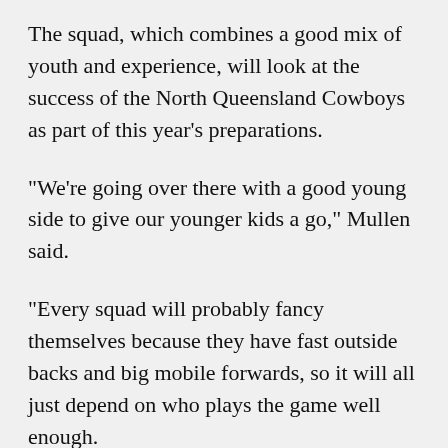The squad, which combines a good mix of youth and experience, will look at the success of the North Queensland Cowboys as part of this year's preparations.
"We're going over there with a good young side to give our younger kids a go," Mullen said.
"Every squad will probably fancy themselves because they have fast outside backs and big mobile forwards, so it will all just depend on who plays the game well enough.
“Probably on paper the Cowboys didn't have the best side last year but they ended up getting the